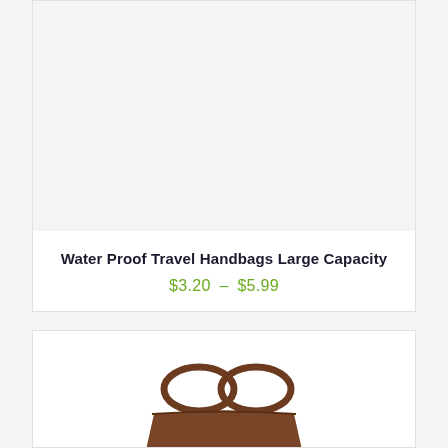[Figure (photo): Product listing card showing a light gray placeholder image area for a water proof travel handbag]
Water Proof Travel Handbags Large Capacity
$3.20 – $5.99
[Figure (photo): Bottom product card showing partial image of a brown leather handbag with handles visible]